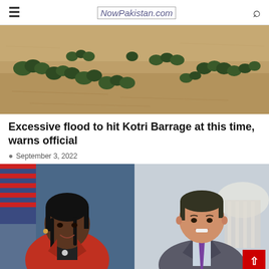NowPakistan.com
[Figure (photo): Aerial view of flooded landscape with trees partially submerged in brown floodwater]
Excessive flood to hit Kotri Barrage at this time, warns official
September 3, 2022
[Figure (photo): Two politicians side by side: a Black woman in a red jacket in front of American flag on the left, and a man in a grey suit with purple tie on the right with capitol building in background]